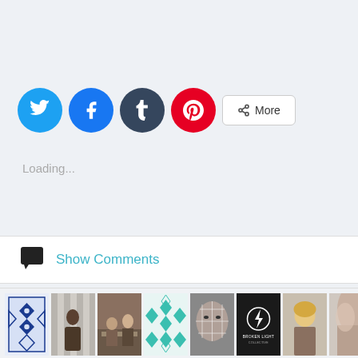[Figure (screenshot): Social share buttons: Twitter (blue circle), Facebook (blue circle), Tumblr (dark circle), Pinterest (red circle), and a More button with share icon]
Loading...
Show Comments
[Figure (screenshot): Row of thumbnail images including a blue geometric pattern, a person near striped curtains, two people at a table, a teal geometric pattern, a man with face grid overlay, a Broken Light Collective logo, a blonde woman, and a partial body image]